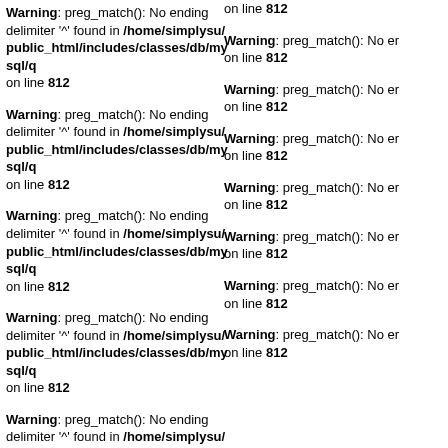on line 812 (partial, top right)
Warning: preg_match(): No ending delimiter '^' found in /home/simplysu/public_html/includes/classes/db/mysql/q on line 812
Warning: preg_match(): No ending delimiter '^' found in /home/simplysu/public_html/includes/classes/db/mysql/q on line 812
Warning: preg_match(): No er on line 812
Warning: preg_match(): No ending delimiter '^' found in /home/simplysu/public_html/includes/classes/db/mysql/q on line 812
Warning: preg_match(): No er on line 812
Warning: preg_match(): No ending delimiter '^' found in /home/simplysu/public_html/includes/classes/db/mysql/q on line 812
Warning: preg_match(): No er on line 812
Warning: preg_match(): No er on line 812
Warning: preg_match(): No ending delimiter '^' found in /home/simplysu/public_html/includes/classes/db/mysql/q on line 812
Warning: preg_match(): No er on line 812
Warning: preg_match(): No er on line 812 (partial overlap)
Warning: preg_match(): No ending delimiter '^' found in /home/simplysu/public_html/includes/classes/db/mysql/q on line 812
Warning: preg_match(): No er on line 812
Warning: preg_match(): No er on line 812